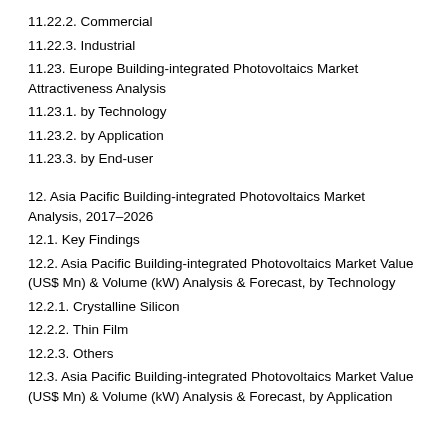11.22.2. Commercial
11.22.3. Industrial
11.23. Europe Building-integrated Photovoltaics Market Attractiveness Analysis
11.23.1. by Technology
11.23.2. by Application
11.23.3. by End-user
12. Asia Pacific Building-integrated Photovoltaics Market Analysis, 2017–2026
12.1. Key Findings
12.2. Asia Pacific Building-integrated Photovoltaics Market Value (US$ Mn) & Volume (kW) Analysis & Forecast, by Technology
12.2.1. Crystalline Silicon
12.2.2. Thin Film
12.2.3. Others
12.3. Asia Pacific Building-integrated Photovoltaics Market Value (US$ Mn) & Volume (kW) Analysis & Forecast, by Application